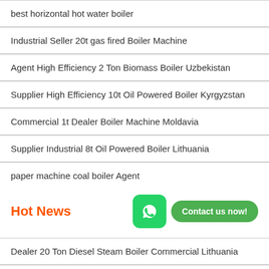best horizontal hot water boiler
Industrial Seller 20t gas fired Boiler Machine
Agent High Efficiency 2 Ton Biomass Boiler Uzbekistan
Supplier High Efficiency 10t Oil Powered Boiler Kyrgyzstan
Commercial 1t Dealer Boiler Machine Moldavia
Supplier Industrial 8t Oil Powered Boiler Lithuania
paper machine coal boiler Agent
Hot News
Dealer 20 Ton Diesel Steam Boiler Commercial Lithuania
10 Ton Biomass Fired Boiler Plant Cheap Latvia